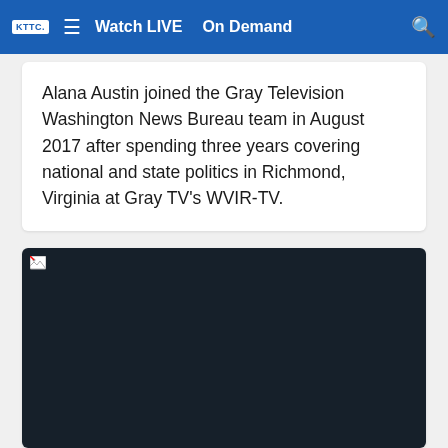KTTC  ☰  Watch LIVE  On Demand  🔍
Alana Austin joined the Gray Television Washington News Bureau team in August 2017 after spending three years covering national and state politics in Richmond, Virginia at Gray TV's WVIR-TV.
[Figure (photo): Black/dark image placeholder — image failed to load, showing a broken image icon in the top-left corner on a very dark navy background.]